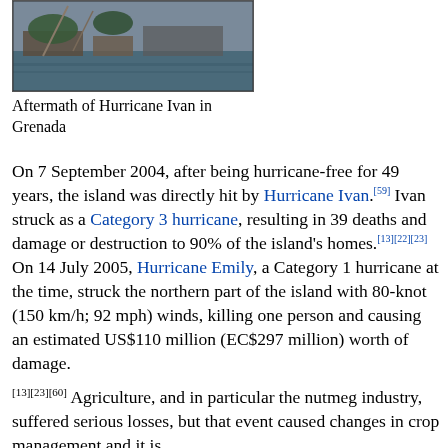[Figure (photo): Aerial or elevated photograph showing aftermath of Hurricane Ivan in Grenada, depicting damaged marina/harbor area with boats and structures]
Aftermath of Hurricane Ivan in Grenada
On 7 September 2004, after being hurricane-free for 49 years, the island was directly hit by Hurricane Ivan.[59] Ivan struck as a Category 3 hurricane, resulting in 39 deaths and damage or destruction to 90% of the island's homes.[13][22][23] On 14 July 2005, Hurricane Emily, a Category 1 hurricane at the time, struck the northern part of the island with 80-knot (150 km/h; 92 mph) winds, killing one person and causing an estimated US$110 million (EC$297 million) worth of damage.[13][23][60] Agriculture, and in particular the nutmeg industry, suffered serious losses, but that event caused changes in crop management and it is